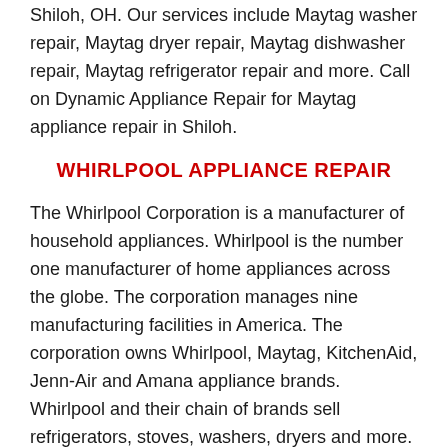Shiloh, OH. Our services include Maytag washer repair, Maytag dryer repair, Maytag dishwasher repair, Maytag refrigerator repair and more. Call on Dynamic Appliance Repair for Maytag appliance repair in Shiloh.
WHIRLPOOL APPLIANCE REPAIR
The Whirlpool Corporation is a manufacturer of household appliances. Whirlpool is the number one manufacturer of home appliances across the globe. The corporation manages nine manufacturing facilities in America. The corporation owns Whirlpool, Maytag, KitchenAid, Jenn-Air and Amana appliance brands. Whirlpool and their chain of brands sell refrigerators, stoves, washers, dryers and more. We can fix every brand and model from Whirlpool for customers in Shiloh, OH. Our Whirlpool repair services include Whirlpool dryer repair, Whirlpool washer repair, Whirlpool refrigerator repair, Whirlpool dishwasher repair and